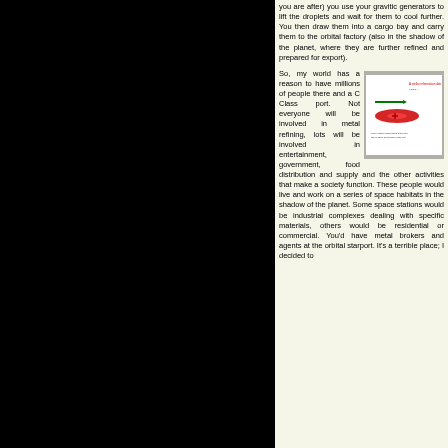you are after) you use your gravitic generators to lift the droplets and wait for them to cool further. You then draw them into a cargo bay and carry them to the orbital factory (also in the shadow of the planet, where they are further refined and prepared for export).
[Figure (illustration): A diagram or image showing what appears to be a spacecraft or orbital facility schematic with red and green markings on a white background, inside a gray border frame.]
So, my world has a reason to have millions of people there and a C Class port. Not everyone will be involved in metal refining, lots will be involved in entertainment, government, food distribution and supply and the other activities that make a society function. These people would live and work on a series of space habitats in the shadow of the planet. Some space stations would be industrial complexes dealing with specific materials, others would be residential or commercial. You'd have metal brokers and agents at the orbital starport. It's a terrible place; I decided to